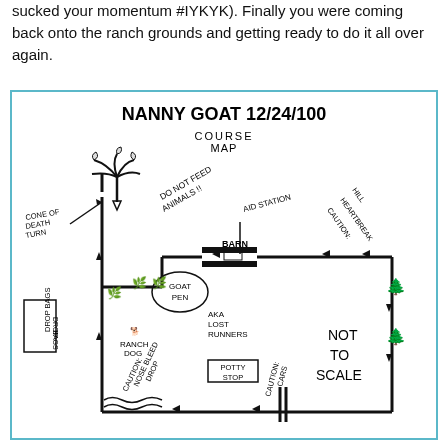sucked your momentum #IYKYK). Finally you were coming back onto the ranch grounds and getting ready to do it all over again.
[Figure (map): Hand-drawn course map for Nanny Goat 12/24/100 race. Shows a loop course on ranch grounds with labels including: NANNY GOAT 12/24/100 COURSE MAP at top, Cone of Death Turn on left with arrow, Do Not Feed Animals!! in upper middle, Aid Station and Barn in center-upper area, Caution: Heartbreak Hill on upper right, Goat Pen (AKA Lost Runners) in center, Ranch Dog in lower left area, Drop Bags box on far left, Potty Stop in center, Not To Scale text on right, Caution: Nosebleed Drop on lower left, Caution: Cars on lower center. Course path shown with directional arrows indicating running direction.]